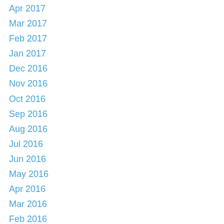Apr 2017
Mar 2017
Feb 2017
Jan 2017
Dec 2016
Nov 2016
Oct 2016
Sep 2016
Aug 2016
Jul 2016
Jun 2016
May 2016
Apr 2016
Mar 2016
Feb 2016
Jan 2016
Dec 2015
Nov 2015
Oct 2015
Sep 2015